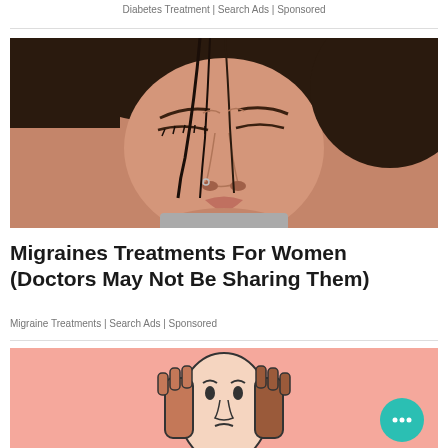Diabetes Treatment | Search Ads | Sponsored
[Figure (photo): Close-up photo of a woman with dark hair holding her head in pain, eyes closed, grimacing, suggestive of a migraine headache]
Migraines Treatments For Women (Doctors May Not Be Sharing Them)
Migraine Treatments | Search Ads | Sponsored
[Figure (illustration): Illustration of a cartoon face with hands on cheeks on a pink/salmon background, partially visible at bottom of page, with a teal chat bubble widget in the bottom right corner]